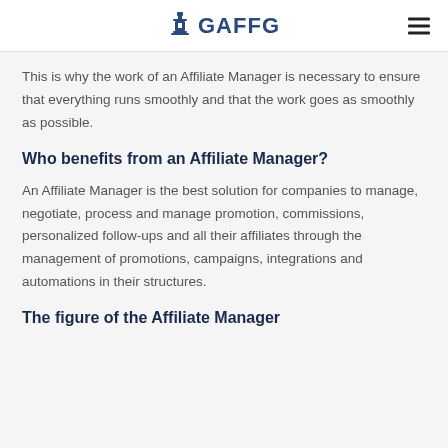GAFFG
This is why the work of an Affiliate Manager is necessary to ensure that everything runs smoothly and that the work goes as smoothly as possible.
Who benefits from an Affiliate Manager?
An Affiliate Manager is the best solution for companies to manage, negotiate, process and manage promotion, commissions, personalized follow-ups and all their affiliates through the management of promotions, campaigns, integrations and automations in their structures.
The figure of the Affiliate Manager